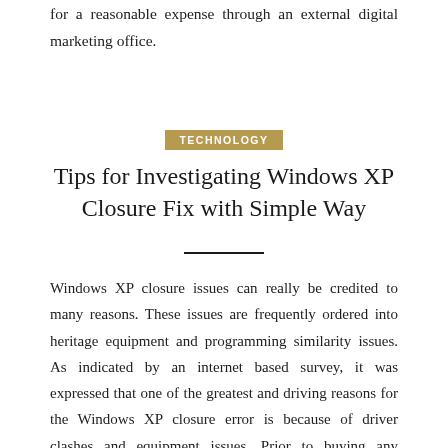for a reasonable expense through an external digital marketing office.
TECHNOLOGY
Tips for Investigating Windows XP Closure Fix with Simple Way
Windows XP closure issues can really be credited to many reasons. These issues are frequently ordered into heritage equipment and programming similarity issues. As indicated by an internet based survey, it was expressed that one of the greatest and driving reasons for the Windows XP closure error is because of driver clashes and equipment issues. Prior to buying any equipment, be certain that you have done what is needed